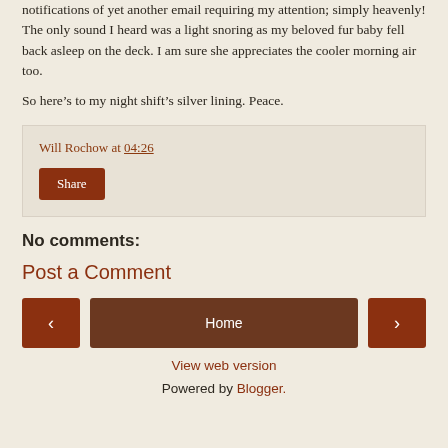notifications of yet another email requiring my attention; simply heavenly! The only sound I heard was a light snoring as my beloved fur baby fell back asleep on the deck. I am sure she appreciates the cooler morning air too.
So here’s to my night shift’s silver lining. Peace.
Will Rochow at 04:26
Share
No comments:
Post a Comment
‹
Home
›
View web version
Powered by Blogger.